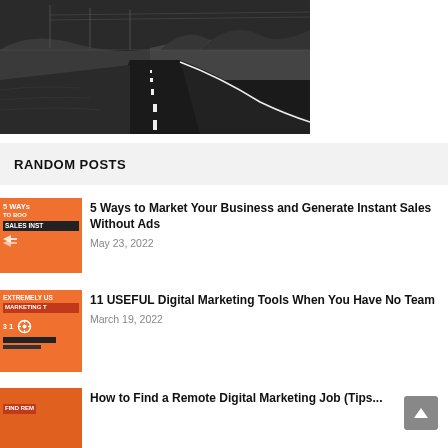[Figure (photo): Black and white photo of a winding road stretching into the distance through a landscape]
RANDOM POSTS
[Figure (photo): Thumbnail image with orange background showing text '5 WAYS TO BOO... SALES INST...' with a person]
5 Ways to Market Your Business and Generate Instant Sales Without Ads
May 23, 2022
[Figure (photo): Thumbnail image with orange background showing text 'EXTREMELY US... MARKETING T...' with a person]
11 USEFUL Digital Marketing Tools When You Have No Team
March 19, 2022
[Figure (photo): Thumbnail image with orange background showing text 'FIND REM...' with a person]
How to Find a Remote Digital Marketing Job (Tips...